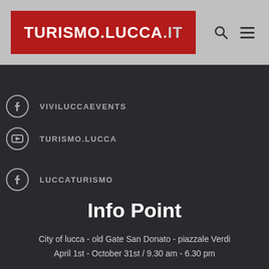TURISMO.LUCCA.IT
VIVILUCCAEVENTS
TURISMO.LUCCA
LUCCATURISMO
Info Point
City of lucca - old Gate San Donato - piazzale Verdi
April 1st - October 31st / 9.30 am - 6.30 pm